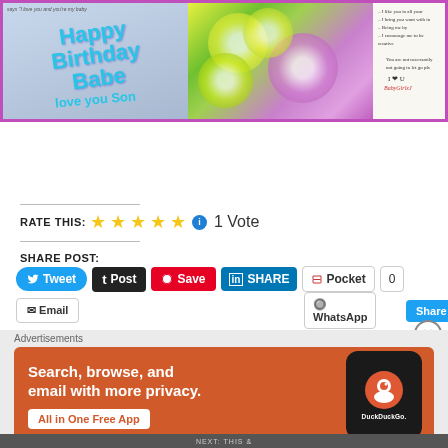[Figure (photo): Three-panel photo strip: left panel shows handwritten 'Happy Birthday Babe, Love You Son' in blue teal on paper with 'says I love you and you're my baby' text at top; middle panel shows colorful yellow, green, and purple daisies; right panel shows handwritten note on white paper card interior]
RATE THIS: ★★★★★ ℹ 1 Vote
SHARE POST:
Tweet  Post  Save  SHARE  Pocket  0
Email  WhatsApp  Share
[Figure (infographic): DuckDuckGo advertisement banner with orange background. Text: 'Search, browse, and email with more privacy.' Button: 'All in One Free App'. Right side shows a phone mockup with DuckDuckGo logo and wordmark.]
NEXT: THIS &